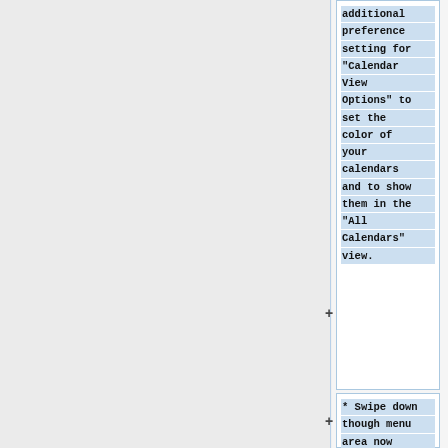additional preference setting for "Calendar View Options" to set the color of your calendars and to show them in the "All Calendars" view.
* Swipe down though menu area now opens menus at top of screen.